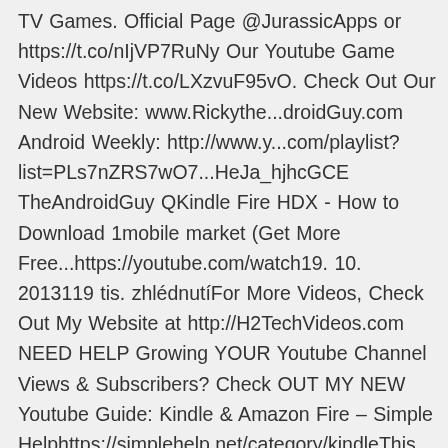TV Games. Official Page @JurassicApps or https://t.co/nIjVP7RuNy Our Youtube Game Videos https://t.co/LXzvuF95vO. Check Out Our New Website: www.Rickythe...droidGuy.com Android Weekly: http://www.y...com/playlist?list=PLs7nZRS7wO7...HeJa_hjhcGCE TheAndroidGuy QKindle Fire HDX - How to Download 1mobile market (Get More Free...https://youtube.com/watch19. 10. 2013119 tis. zhlédnutíFor More Videos, Check Out My Website at http://H2TechVideos.com NEED HELP Growing YOUR Youtube Channel Views & Subscribers? Check OUT MY NEW Youtube Guide: Kindle & Amazon Fire – Simple Helphttps://simplehelp.net/category/kindleThis short guide will take you step by step through the process of changing the default search engine (Bing) on your Amazon Fire tablet. ... This is the most detailed and the easiest step-by-step guide on sideload Android apps to Kindle Fire (and HD, HD 8.9, HDX 7 and